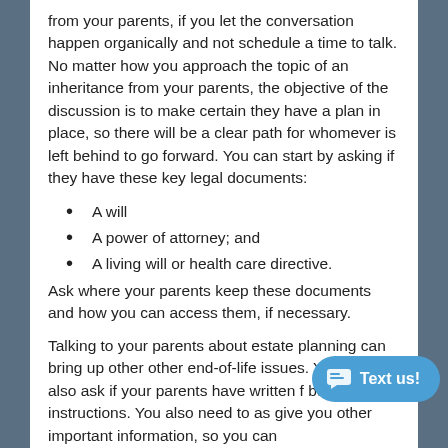from your parents, if you let the conversation happen organically and not schedule a time to talk. No matter how you approach the topic of an inheritance from your parents, the objective of the discussion is to make certain they have a plan in place, so there will be a clear path for whomever is left behind to go forward. You can start by asking if they have these key legal documents:
A will
A power of attorney; and
A living will or health care directive.
Ask where your parents keep these documents and how you can access them, if necessary.
Talking to your parents about estate planning can bring up other other end-of-life issues. You should also ask if your parents have written f burial instructions. You also need to as give you other important information, so you can